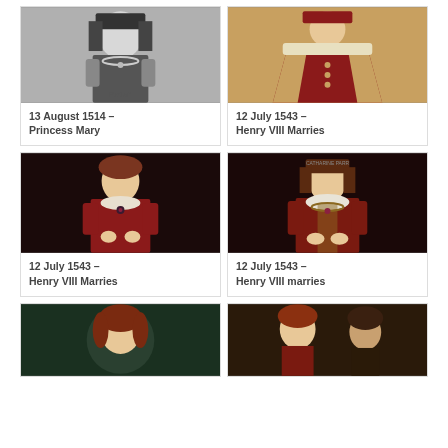[Figure (photo): Black and white portrait of a woman in Tudor dress with pearl necklace, historical painting]
13 August 1514 – Princess Mary
[Figure (photo): Color portrait of figure in red and gold Tudor robes, possibly Henry VIII]
12 July 1543 – Henry VIII Marries
[Figure (photo): Color portrait of young woman in red Tudor dress with dark hair]
12 July 1543 – Henry VIII Marries
[Figure (photo): Color portrait of woman in red Tudor dress with white collar, labeled Catharine Parr]
12 July 1543 – Henry VIII marries
[Figure (photo): Partial portrait of woman with red hair on dark green background]
[Figure (photo): Partial portrait of two figures, woman with red hair and a man]